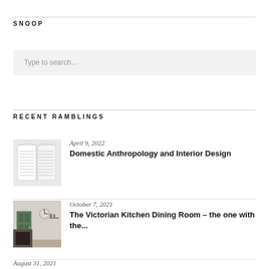SNOOP
Type to search...
RECENT RAMBLINGS
April 9, 2022
Domestic Anthropology and Interior Design
October 7, 2021
The Victorian Kitchen Dining Room – the one with the...
August 31, 2021
How to add personality to a new build